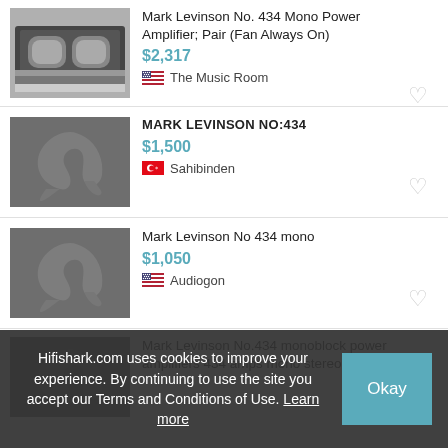Mark Levinson No. 434 Mono Power Amplifier; Pair (Fan Always On)
$2,317
The Music Room
MARK LEVINSON NO:434
$1,500
Sahibinden
Mark Levinson No 434 mono
$1,050
Audigon
Mark Levinson No.434 monoblock power amplifiers 434 amps mono stereo
Hifishark.com uses cookies to improve your experience. By continuing to use the site you accept our Terms and Conditions of Use. Learn more
Single Monoblock Levinson ML No. 434 Mono Amplifier...Monoblock
$1,050